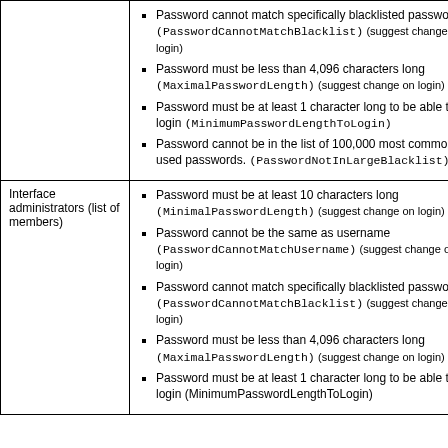Password cannot match specifically blacklisted passwords (PasswordCannotMatchBlacklist) (suggest change on login)
Password must be less than 4,096 characters long (MaximalPasswordLength) (suggest change on login)
Password must be at least 1 character long to be able to login (MinimumPasswordLengthToLogin)
Password cannot be in the list of 100,000 most commonly used passwords. (PasswordNotInLargeBlacklist)
Interface administrators (list of members)
Password must be at least 10 characters long (MinimalPasswordLength) (suggest change on login)
Password cannot be the same as username (PasswordCannotMatchUsername) (suggest change on login)
Password cannot match specifically blacklisted passwords (PasswordCannotMatchBlacklist) (suggest change on login)
Password must be less than 4,096 characters long (MaximalPasswordLength) (suggest change on login)
Password must be at least 1 character long to be able to login (MinimumPasswordLengthToLogin)